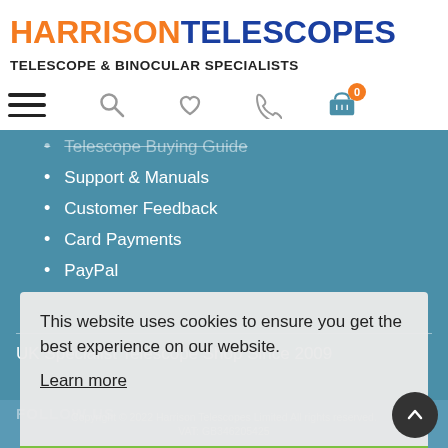HARRISONTELESCOPES — TELESCOPE & BINOCULAR SPECIALISTS
Telescope Buying Guide (partially visible, faded)
Support & Manuals
Customer Feedback
Card Payments
PayPal
UK Specialist Telescope Shop Since 2009
Copyright © 2022 Harrison Telescopes Limited All rights reserved. VAT: GB346205425
This website uses cookies to ensure you get the best experience on our website.
Learn more
Got it!